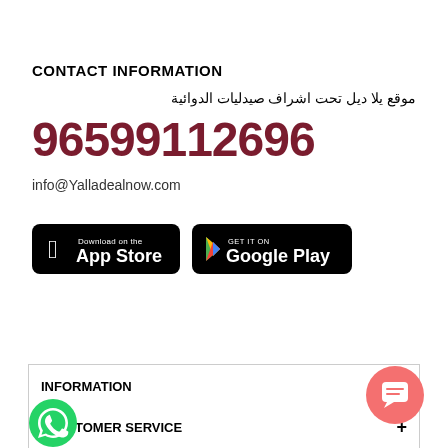CONTACT INFORMATION
موقع يلا ديل تحت اشراف صيدليات الدوائية
96599112696
info@Yalladealnow.com
[Figure (screenshot): App Store download badge (black rounded rectangle)]
[Figure (screenshot): Google Play Get it on badge (black rounded rectangle)]
INFORMATION
CUSTOMER SERVICE
MY ACCOUNT